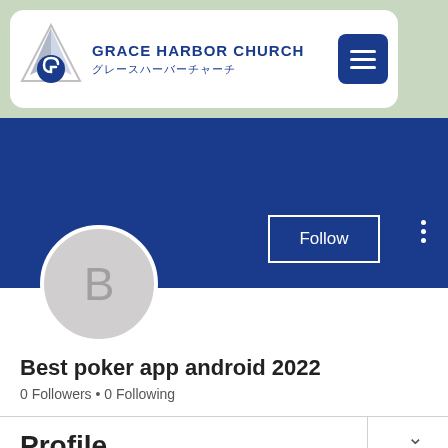[Figure (logo): Grace Harbor Church logo with triangular symbol and church name in English and Japanese]
Best poker app android 2022
0 Followers • 0 Following
Profile
Join date: May 5, 2022